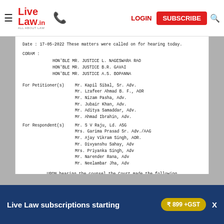Live Law | LOGIN | SUBSCRIBE
Date : 17-05-2022 These matters were called on for hearing today.
CORAM :
    HON'BLE MR. JUSTICE L. NAGESWARA RAO
    HON'BLE MR. JUSTICE B.R. GAVAI
    HON'BLE MR. JUSTICE A.S. BOPANNA
For Petitioner(s)   Mr. Kapil Sibal, Sr. Adv.
                    Mr. Lzafeer Ahmad B. F., AOR
                    Mr. Nizam Pasha, Adv.
                    Mr. Jubair Khan, Adv.
                    Mr. Aditya Samaddar, Adv.
                    Mr. Ahmad Ibrahin, Adv.
For Respondent(s)   Mr. S V Raju, Ld. ASG
                    Mrs. Garima Prasad Sr. Adv./AAG
                    Mr. Ajay Vikram Singh, AOR.
                    Mr. Divyanshu Sahay, Adv
                    Mrs. Priyanka Singh, Adv
                    Mr. Narender Rana, Adv
                    Mr. Neelambar Jha, Adv
UPON hearing the counsel the Court made the following
                    O R D E R
Heard.
Arguments concluded.
Judgment/order reserved.
(Geeta Ahuja)
Court Master
(Anand Prakash)
Assistant Registrar
Live Law subscriptions starting
₹ 899 +GST